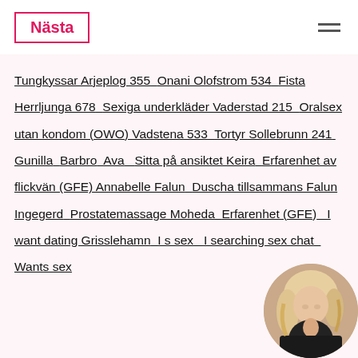Nästa
Tungkyssar Arjeplog 355  Onani Olofstrom 534  Fista Herrljunga 678  Sexiga underkläder Vaderstad 215  Oralsex utan kondom (OWO) Vadstena 533  Tortyr Sollebrunn 241  Gunilla  Barbro  Ava   Sitta på ansiktet Keira  Erfarenhet av flickvän (GFE) Annabelle Falun  Duscha tillsammans Falun Ingegerd  Prostatemassage Moheda  Erfarenhet (GFE)   I want dating Grisslehamn  I s sex   I searching sex chat   Wants sex
[Figure (photo): Circular profile photo of a blonde woman in dark clothing]